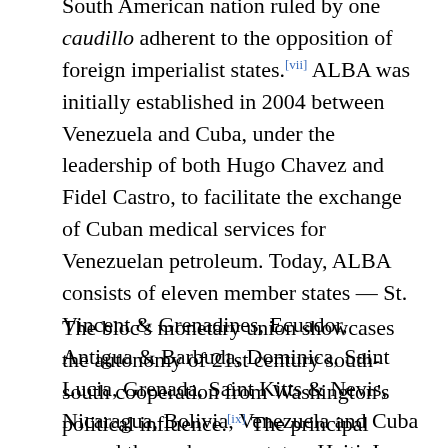South American nation ruled by one caudillo adherent to the opposition of foreign imperialist states.[vii] ALBA was initially established in 2004 between Venezuela and Cuba, under the leadership of both Hugo Chavez and Fidel Castro, to facilitate the exchange of Cuban medical services for Venezuelan petroleum. Today, ALBA consists of eleven member states — St. Vincent & Grenadines, Ecuador, Antigua & Barbuda, Dominica, Saint Lucia, Grenada, Saint Kitts & Nevis, Nicaragua, Bolivia, Venezuela and Cuba — and three observer states, Haiti, Iran, and Syria, with Suriname admitted as a guest member in 2012.[viii]
The bloc's monetary union showcases the autonomy of 21st century south-south cooperation from Washington's political influence.[ix] The principal strength of ABLA is the SUCRE. The SUCRE is a regional unit of account, that allows the facilitation of regional trade without being dependent on the United States dollar.